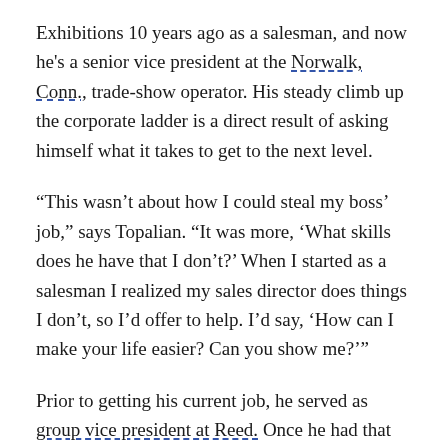Exhibitions 10 years ago as a salesman, and now he's a senior vice president at the Norwalk, Conn., trade-show operator. His steady climb up the corporate ladder is a direct result of asking himself what it takes to get to the next level.
“This wasn’t about how I could steal my boss’ job,” says Topalian. “It was more, ‘What skills does he have that I don’t?’ When I started as a salesman I realized my sales director does things I don’t, so I’d offer to help. I’d say, ‘How can I make your life easier? Can you show me?’”
Prior to getting his current job, he served as group vice president at Reed. Once he had that job under control, he analyzed what it meant to be a senior vice president. One of the skills missing...